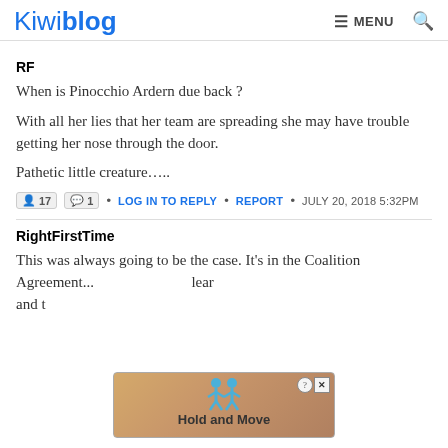Kiwiblog  ☰ MENU 🔍
RF
When is Pinocchio Ardern due back ?
With all her lies that her team are spreading she may have trouble getting her nose through the door.
Pathetic little creature…..
17  1  • LOG IN TO REPLY • REPORT • JULY 20, 2018 5:32PM
RightFirstTime
This was always going to be the case. It's in the Coalition Agreement...clear and...
[Figure (screenshot): Ad overlay showing 'Hold and Move' with animated figures, close button with ? and X icons]